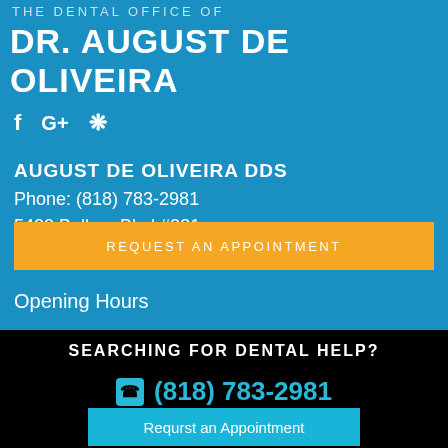THE DENTAL OFFICE OF
DR. AUGUST DE OLIVEIRA
[Figure (illustration): Social media icons: Facebook (f), Google+ (G+), Yelp (flower/star icon)]
AUGUST DE OLIVEIRA DDS
Phone: (818) 783-2981
5400 Balboa Blvd #231
Encino, CA 91316
REQUEST AN APPOINTMENT
Opening Hours
SEARCHING FOR DENTAL HELP?
(818) 783-2981
Requrst an Appointment